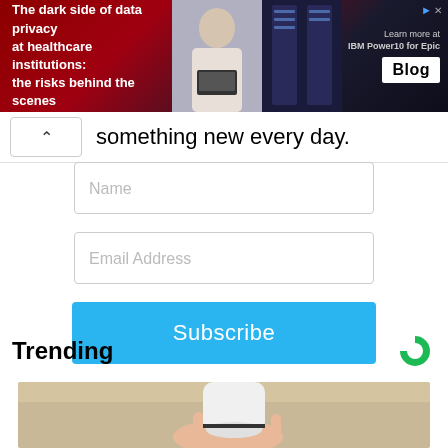[Figure (other): Advertisement banner: 'The dark side of data privacy at healthcare institutions: the risks behind the scenes' with IBM Power10 for Epic Blog promotion]
something new every day.
[Figure (other): Name input field (empty form field)]
[Figure (other): Email Address input field (empty form field)]
[Figure (other): Subscribe button (blue)]
Trending
[Figure (photo): A hand holding a white smart home device (camera or similar) against a wooden background]